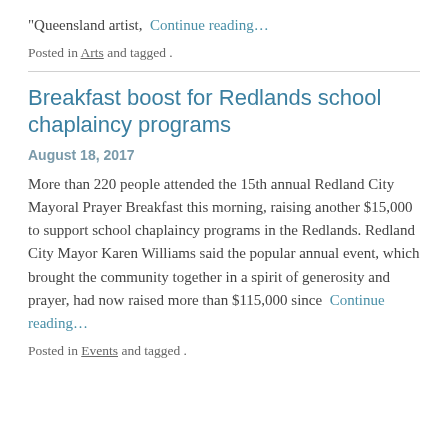“Queensland artist,  Continue reading…
Posted in Arts and tagged .
Breakfast boost for Redlands school chaplaincy programs
August 18, 2017
More than 220 people attended the 15th annual Redland City Mayoral Prayer Breakfast this morning, raising another $15,000 to support school chaplaincy programs in the Redlands. Redland City Mayor Karen Williams said the popular annual event, which brought the community together in a spirit of generosity and prayer, had now raised more than $115,000 since  Continue reading…
Posted in Events and tagged .